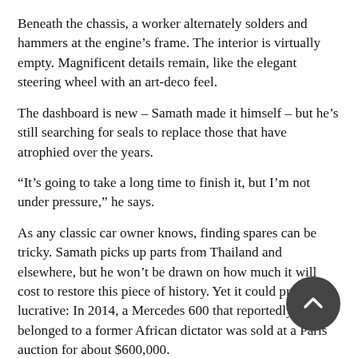Beneath the chassis, a worker alternately solders and hammers at the engine’s frame. The interior is virtually empty. Magnificent details remain, like the elegant steering wheel with an art-deco feel.
The dashboard is new – Samath made it himself – but he’s still searching for seals to replace those that have atrophied over the years.
“It’s going to take a long time to finish it, but I’m not under pressure,” he says.
As any classic car owner knows, finding spares can be tricky. Samath picks up parts from Thailand and elsewhere, but he won’t be drawn on how much it will cost to restore this piece of history. Yet it could prove lucrative: In 2014, a Mercedes 600 that reportedly belonged to a former African dictator was sold at a Paris auction for about $600,000.
Outside the Heritage Suites Hotel, another gleaming Mercedes 600 of the era can be found, which Samath helped to build and in which he maintains an interest. A hint of the car’s former owner can be found in front-mounted metal brackets, which once held the flags signifying the late King Father Norodom